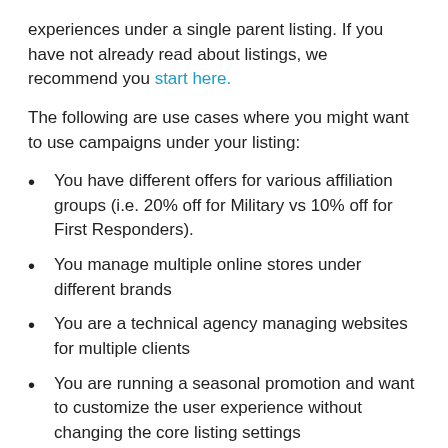experiences under a single parent listing. If you have not already read about listings, we recommend you start here.
The following are use cases where you might want to use campaigns under your listing:
You have different offers for various affiliation groups (i.e. 20% off for Military vs 10% off for First Responders).
You manage multiple online stores under different brands
You are a technical agency managing websites for multiple clients
You are running a seasonal promotion and want to customize the user experience without changing the core listing settings